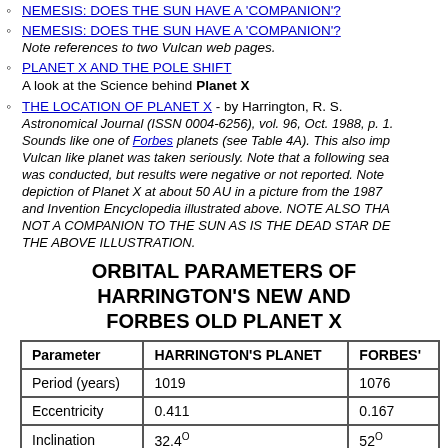NEMESIS: DOES THE SUN HAVE A 'COMPANION'?
NEMESIS: DOES THE SUN HAVE A 'COMPANION'?
Note references to two Vulcan web pages.
PLANET X AND THE POLE SHIFT
A look at the Science behind Planet X
THE LOCATION OF PLANET X - by Harrington, R. S. Astronomical Journal (ISSN 0004-6256), vol. 96, Oct. 1988, p. 1. Sounds like one of Forbes planets (see Table 4A). This also implies a Vulcan like planet was taken seriously. Note that a following search was conducted, but results were negative or not reported. Note the depiction of Planet X at about 50 AU in a picture from the 1987 Science and Invention Encyclopedia illustrated above. NOTE ALSO THAT PLANET X IS NOT A COMPANION TO THE SUN AS IS THE DEAD STAR DESCRIBED IN THE ABOVE ILLUSTRATION.
ORBITAL PARAMETERS OF HARRINGTON'S NEW AND FORBES OLD PLANET X
| Parameter | HARRINGTON'S PLANET | FORBES' |
| --- | --- | --- |
| Period (years) | 1019 | 1076 |
| Eccentricity | 0.411 | 0.167 |
| Inclination | 32.4° | 52° |
| Asc. Node | 275.4° | 247° |
| Perihelion Arg. | 208.5° | 115° |